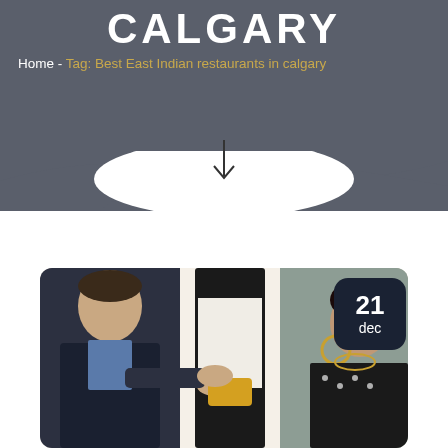CALGARY
Home - Tag: Best East Indian restaurants in calgary
[Figure (photo): A restaurant scene showing a man in a suit handing a credit card to a waiter in black vest, with a woman visible on the right side, date badge showing 21 dec in top right corner]